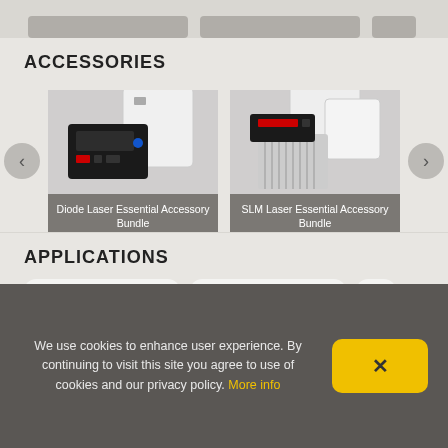ACCESSORIES
[Figure (photo): Diode Laser Essential Accessory Bundle product photo, model AM-BUNDLE1, showing black laser module with white power adapter]
Diode Laser Essential Accessory Bundle
AM-BUNDLE1
[Figure (photo): SLM Laser Essential Accessory Bundle product photo, model AM-BUNDLE2, showing white laser modules with heatsink]
SLM Laser Essential Accessory Bundle
AM-BUNDLE2
[Figure (photo): Partially visible third accessory item, text reads USB]
APPLICATIONS
We use cookies to enhance user experience. By continuing to visit this site you agree to use of cookies and our privacy policy. More info